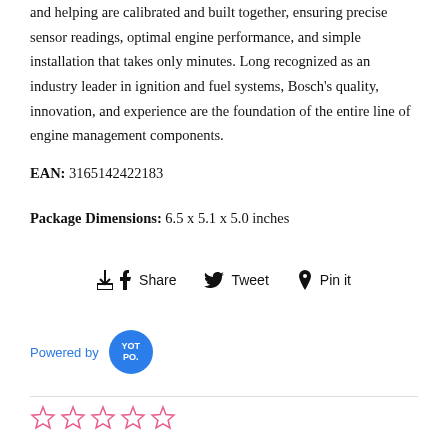and helping are calibrated and built together, ensuring precise sensor readings, optimal engine performance, and simple installation that takes only minutes. Long recognized as an industry leader in ignition and fuel systems, Bosch's quality, innovation, and experience are the foundation of the entire line of engine management components.
EAN: 3165142422183
Package Dimensions: 6.5 x 5.1 x 5.0 inches
Share  Tweet  Pin it
[Figure (logo): Powered by Yotpo logo badge]
[Figure (other): Five empty star rating icons in pink/red outline]